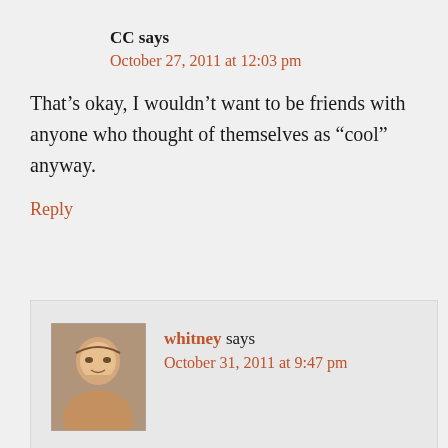CC says
October 27, 2011 at 12:03 pm
That’s okay, I wouldn’t want to be friends with anyone who thought of themselves as “cool” anyway.
Reply
[Figure (photo): Avatar photo of whitney, a woman smiling]
whitney says
October 31, 2011 at 9:47 pm